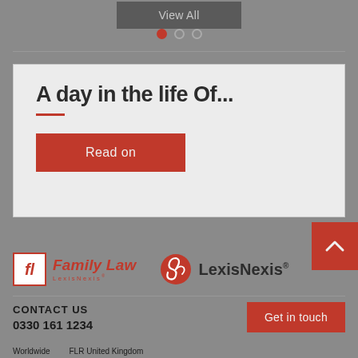[Figure (screenshot): View All button at the top of the page]
[Figure (infographic): Pagination dots: one red active dot and two inactive outline dots]
A day in the life Of...
[Figure (screenshot): Read on button in dark red]
[Figure (logo): Family Law logo with red italic fl monogram]
[Figure (logo): LexisNexis logo with red spiral bird icon]
CONTACT US
0330 161 1234
[Figure (screenshot): Get in touch button in dark red]
Worldwide   FLR United Kingdom